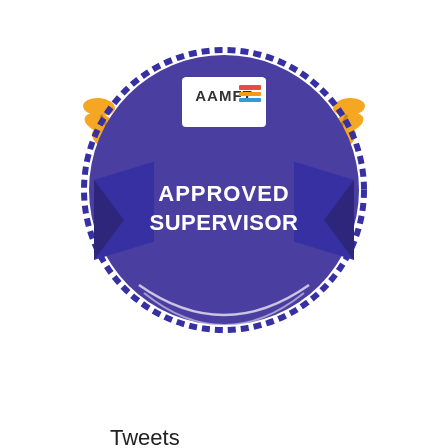[Figure (logo): AAMFT Approved Supervisor badge/seal — circular purple badge with gold laurel wreaths on sides, purple ribbon banner reading 'APPROVED SUPERVISOR' in white bold text, AAMFT logo with colored stripes at top, decorative scalloped circle border at bottom]
Tweets
Tweets from @elisjoy
Elisabeth J LaMotte @elisjoy · Aug 9
#Room #BookReview #PTSD I was hesitant to